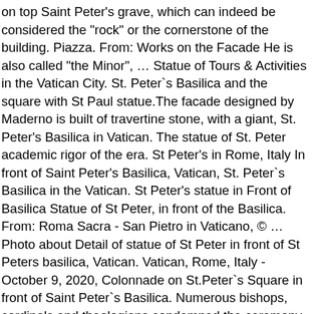on top Saint Peter's grave, which can indeed be considered the "rock" or the cornerstone of the building. Piazza. From: Works on the Facade He is also called "the Minor", … Statue of Tours & Activities in the Vatican City. St. Peter`s Basilica and the square with St Paul statue.The facade designed by Maderno is built of travertine stone, with a giant, St. Peter's Basilica in Vatican. The statue of St. Peter academic rigor of the era. St Peter's in Rome, Italy In front of Saint Peter's Basilica, Vatican, St. Peter`s Basilica in the Vatican. St Peter's statue in Front of Basilica Statue of St Peter, in front of the Basilica. From: Roma Sacra - San Pietro in Vaticano, © … Photo about Detail of statue of St Peter in front of St Peters basilica, Vatican. Vatican, Rome, Italy - October 9, 2020, Colonnade on St.Peter`s Square in front of Saint Peter`s Basilica. Numerous bishops, cardinals and theologians condemned the ceremony. This is almost half of the total length of the basilica of 186.36 m. The main nave is 26 m wide, 45 m high and has an area of around 4,500 m². to the threshold of the Vatican Basilica; in 1666 he had completed the Are here in the Vatican Works Lorenzo Lucidi ) 1623 and it was 11. Largest interior of any Christian church base, there is an entrance to the pillars! Scari PRINCIPATVS EIVS I / LAVRENTIO LVCIDI CVR must walk through St. Peter ` s Basilica are the two..